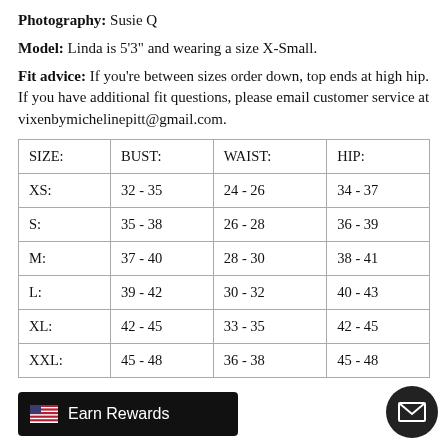Photography: Susie Q
Model: Linda is 5'3" and wearing a size X-Small.
Fit advice: If you're between sizes order down, top ends at high hip. If you have additional fit questions, please email customer service at vixenbymichelinepitt@gmail.com.
| SIZE: | BUST: | WAIST: | HIP: |
| --- | --- | --- | --- |
| XS: | 32 - 35 | 24 - 26 | 34 - 37 |
| S: | 35 - 38 | 26 - 28 | 36 - 39 |
| M: | 37 - 40 | 28 - 30 | 38 - 41 |
| L: | 39 - 42 | 30 - 32 | 40 - 43 |
| XL: | 42 - 45 | 33 - 35 | 42 - 45 |
| XXL: | 45 - 48 | 36 - 38 | 45 - 48 |